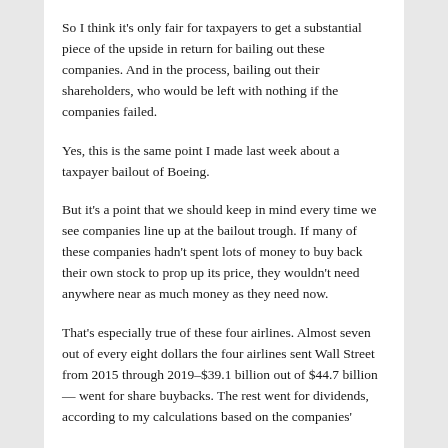So I think it's only fair for taxpayers to get a substantial piece of the upside in return for bailing out these companies. And in the process, bailing out their shareholders, who would be left with nothing if the companies failed.
Yes, this is the same point I made last week about a taxpayer bailout of Boeing.
But it's a point that we should keep in mind every time we see companies line up at the bailout trough. If many of these companies hadn't spent lots of money to buy back their own stock to prop up its price, they wouldn't need anywhere near as much money as they need now.
That's especially true of these four airlines. Almost seven out of every eight dollars the four airlines sent Wall Street from 2015 through 2019–$39.1 billion out of $44.7 billion — went for share buybacks. The rest went for dividends, according to my calculations based on the companies'